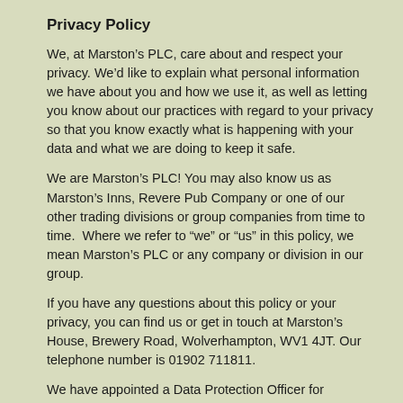Privacy Policy
We, at Marston's PLC, care about and respect your privacy. We'd like to explain what personal information we have about you and how we use it, as well as letting you know about our practices with regard to your privacy so that you know exactly what is happening with your data and what we are doing to keep it safe.
We are Marston's PLC! You may also know us as Marston's Inns, Revere Pub Company or one of our other trading divisions or group companies from time to time.  Where we refer to “we” or “us” in this policy, we mean Marston's PLC or any company or division in our group.
If you have any questions about this policy or your privacy, you can find us or get in touch at Marston's House, Brewery Road, Wolverhampton, WV1 4JT. Our telephone number is 01902 711811.
We have appointed a Data Protection Officer for Marston's PLC, who can be contacted via...